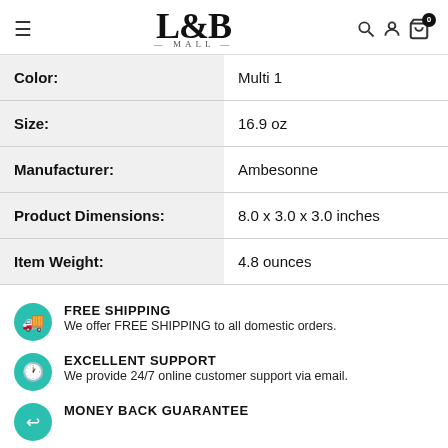L&B MALL
| Attribute | Value |
| --- | --- |
| Color: | Multi 1 |
| Size: | 16.9 oz |
| Manufacturer: | Ambesonne |
| Product Dimensions: | 8.0 x 3.0 x 3.0 inches |
| Item Weight: | 4.8 ounces |
FREE SHIPPING
We offer FREE SHIPPING to all domestic orders.
EXCELLENT SUPPORT
We provide 24/7 online customer support via email.
MONEY BACK GUARANTEE